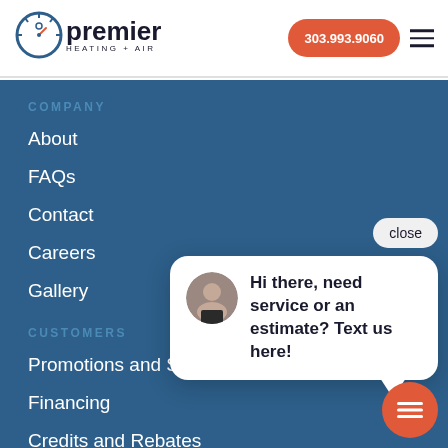[Figure (logo): Premier Heating + Air logo with circular icon and text]
303.993.9060
COMPANY
About
FAQs
Contact
Careers
Gallery
CUSTOMERS
Promotions and Sales
Financing
Credits and Rebates
Customer Resources/Blog
close
Hi there, need service or an estimate? Text us here!